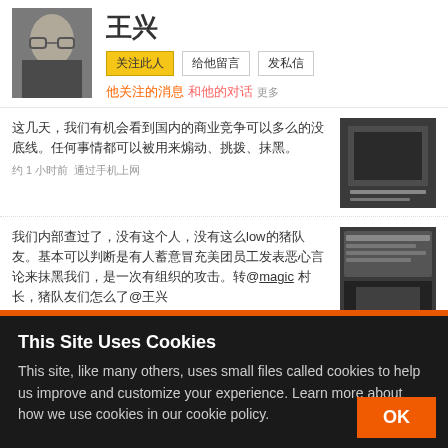[Figure (screenshot): Weibo profile page of user 王兴, showing profile photo, name, follow/message buttons, and two posts in Chinese]
王兴
关注此人 给他留言 发私信
他关注的消息 和他的对话
这几天，我们有机会看到国内的商业竞争可以多么的没底线。任何事情都可以被用来煽动、挑拨、抹黑。
约 1 小时前  通过手机上网
我们内部查过了，没有这个人，没有这么low的猪队友。基本可以判断是有人蓄意冒充美团员工发表恶心言论来抹黑我们，是一次有组织的攻击。转@magic 村长，猪队友们怎么了@王兴
约 1 小时前  通过手机上网 转自magic
This Site Uses Cookies
This site, like many others, uses small files called cookies to help us improve and customize your experience. Learn more about how we use cookies in our cookie policy.
OK